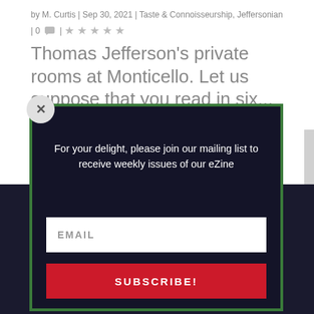by M. Curtis | Sep 30, 2021 | Taste & Connoisseurship, Jeffersonian | 0 💬 | ★★★★★
Thomas Jefferson's private rooms at Monticello. Let us suppose that you read in six...
[Figure (screenshot): Website modal popup with dark navy background and green border, containing text 'For your delight, please join our mailing list to receive weekly issues of our eZine', an email input field labeled EMAIL, and a red SUBSCRIBE! button. A close (X) button appears in the top-left corner of the modal.]